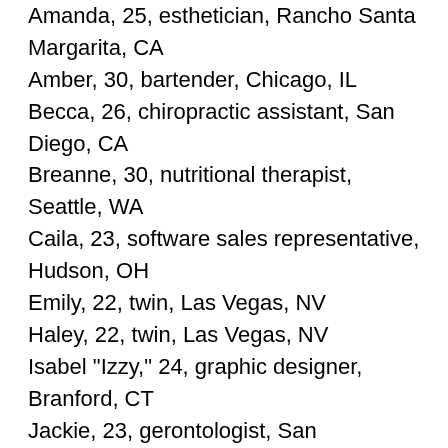Amanda, 25, esthetician, Rancho Santa Margarita, CA
Amber, 30, bartender, Chicago, IL
Becca, 26, chiropractic assistant, San Diego, CA
Breanne, 30, nutritional therapist, Seattle, WA
Caila, 23, software sales representative, Hudson, OH
Emily, 22, twin, Las Vegas, NV
Haley, 22, twin, Las Vegas, NV
Isabel "Izzy," 24, graphic designer, Branford, CT
Jackie, 23, gerontologist, San Francisco, CA
Jami, 23, bartender, St. Albert, Alberta, Canada
Jennifer, 25, small business owner, Fort Lauderdale, FL
Jessica, 23, accountant, Boca Raton, FL